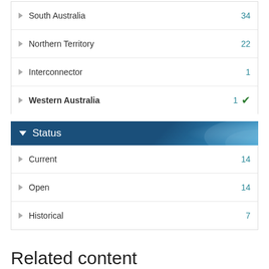South Australia 34
Northern Territory 22
Interconnector 1
Western Australia 1 (checked)
Status
Current 14
Open 14
Historical 7
Related content
Networks & pipelines